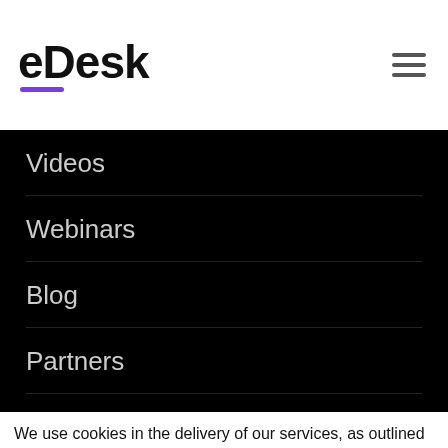eDesk
Videos
Webinars
Blog
Partners
Company
We use cookies in the delivery of our services, as outlined in our Privacy Policy. By using our site you agree to our use of cookies.
Accept All